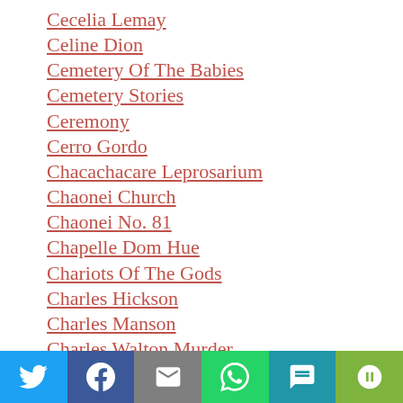Cecelia Lemay
Celine Dion
Cemetery Of The Babies
Cemetery Stories
Ceremony
Cerro Gordo
Chacachacare Leprosarium
Chaonei Church
Chaonei No. 81
Chapelle Dom Hue
Chariots Of The Gods
Charles Hickson
Charles Manson
Charles Walton Murder
Charley Ross
Charlie No Face